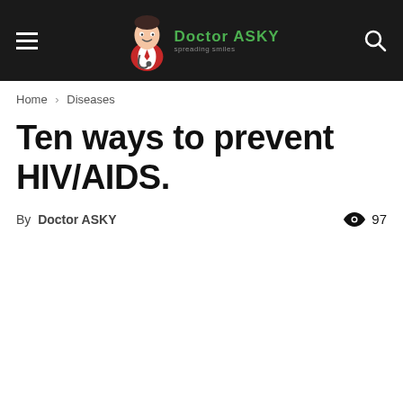Doctor ASKY — spreading smiles [navigation bar with hamburger menu and search icon]
Home › Diseases
Ten ways to prevent HIV/AIDS.
By Doctor ASKY  👁 97